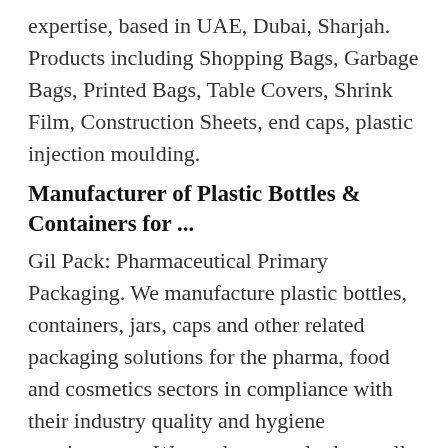expertise, based in UAE, Dubai, Sharjah. Products including Shopping Bags, Garbage Bags, Printed Bags, Table Covers, Shrink Film, Construction Sheets, end caps, plastic injection moulding.
Manufacturer of Plastic Bottles & Containers for ...
Gil Pack: Pharmaceutical Primary Packaging. We manufacture plastic bottles, containers, jars, caps and other related packaging solutions for the pharma, food and cosmetics sectors in compliance with their industry quality and hygiene requirements. We produce standard as well as custom blow & injection molding products and parts.
Wholesale Plastic Bottles,PET Plastic Cylinder Bottles ...
Get Free Plastic Bottle Mold for Your Own Brand! We design it, customize it and produce it. ... 20/410 PP flip